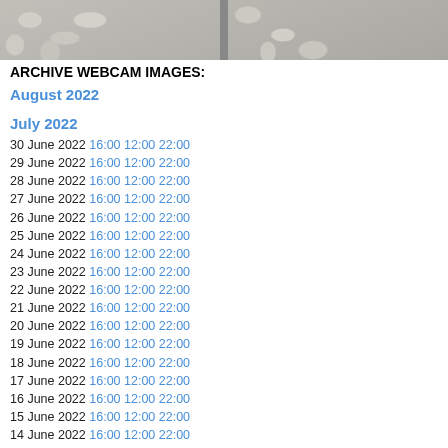[Figure (photo): Webcam image showing stone/cobblestone pavement, split into two panels with a vertical divider]
ARCHIVE WEBCAM IMAGES:
August 2022
July 2022
30 June 2022  16:00 12:00 22:00
29 June 2022  16:00 12:00 22:00
28 June 2022  16:00 12:00 22:00
27 June 2022  16:00 12:00 22:00
26 June 2022  16:00 12:00 22:00
25 June 2022  16:00 12:00 22:00
24 June 2022  16:00 12:00 22:00
23 June 2022  16:00 12:00 22:00
22 June 2022  16:00 12:00 22:00
21 June 2022  16:00 12:00 22:00
20 June 2022  16:00 12:00 22:00
19 June 2022  16:00 12:00 22:00
18 June 2022  16:00 12:00 22:00
17 June 2022  16:00 12:00 22:00
16 June 2022  16:00 12:00 22:00
15 June 2022  16:00 12:00 22:00
14 June 2022  16:00 12:00 22:00
13 June 2022  16:00 12:00 22:00
12 June 2022  16:00 12:00 22:00
11 June 2022  16:00 12:00 22:00
10 June 2022  16:00 12:00 22:00
09 June 2022  16:00 12:00 22:00
08 June 2022  16:00 12:00 22:00
07 June 2022  16:00 12:00 22:00
06 June 2022  16:00 12:00 22:00
05 June 2022  16:00 12:00 22:00
04 June 2022  16:00 12:00 22:00
03 June 2022  16:00 12:00 22:00